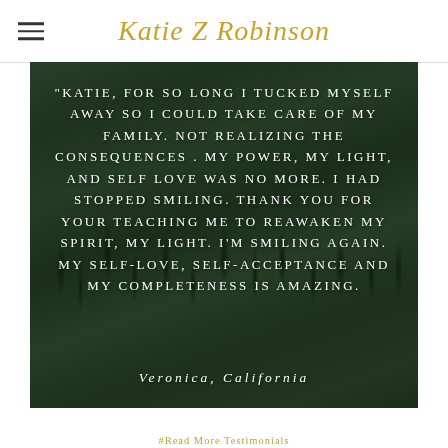Katie Z Robinson
[Figure (photo): Forest/pine trees aerial view background with testimonial quote overlay. Quote reads: "KATIE, FOR SO LONG I TUCKED MYSELF AWAY SO I COULD TAKE CARE OF MY FAMILY. NOT REALIZING THE CONSEQUENCES . MY POWER, MY LIGHT, AND SELF LOVE WAS NO MORE. I HAD STOPPED SMILING. THANK YOU FOR YOUR TEACHING ME TO REAWAKEN MY SPIRIT, MY LIGHT. I'M SMILING AGAIN. MY SELF-LOVE, SELF-ACCEPTANCE AND MY COMPLETENESS IS AMAZING." Attribution: Veronica, California]
#Read More Testimonials